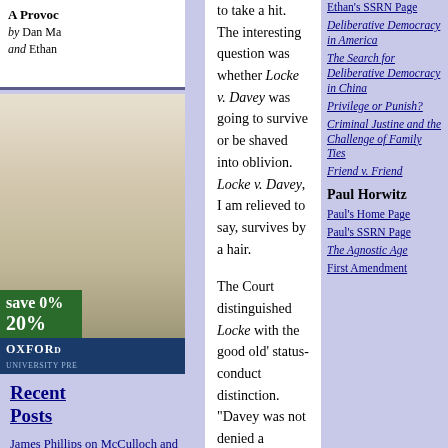[Figure (other): Book advertisement: 'A Provocative...' by Dan Ma... and Ethan, with Oxford University Press branding and 'save 20%' badge]
Recent Posts
James Phillips on McCulloch and Gettysburg
Law School Hiring Spreadsheet and...
to take a hit. The interesting question was whether Locke v. Davey was going to survive or be shaved into oblivion. Locke v. Davey, I am relieved to say, survives by a hair.
The Court distinguished Locke with the good old' status-conduct distinction. "Davey was not denied a scholarship because of who he was," Roberts wrote, but "was denied a scholarship because of what he proposed to do —- use the funds to prepare for the ministry. Here there is no question that Trinity Lutheran was denied a grant simply because of what it is -- a church." States, therefore, still remain free to carve church schools out of voucher programs that pay for (among other things) religious education. As if to reassure federalists, Roberts dropped a footnote that Justices Thomas and Gorsuch refused to join: "This case involves express discrimination based on religious identity with respect to playground resurfacing. We do not address religious uses of funding or other forms of discrimination." Justices Thomas and
Ethan's SSRN Page
Deliberative Democracy in America
The Search for Deliberative Democracy in China
Privilege or Punish?
Criminal Justine and the Challenge of Family Ties
Friend v. Friend
Paul Horwitz
Paul's Home Page
Paul's SSRN Page
The Agnostic Age
First Amendment Institutions